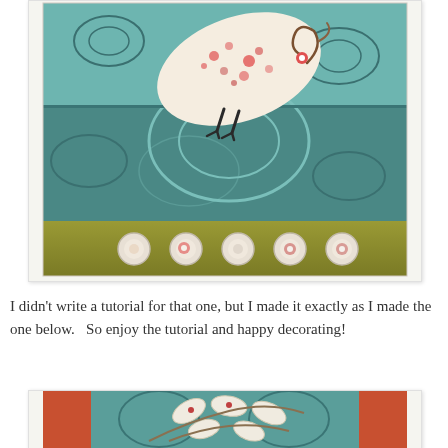[Figure (photo): A decorative craft card featuring a stylized bird made from floral patterned fabric on a teal/turquoise background with swirl patterns. The bottom portion has an olive/gold band with five small circular embellishments. The card is displayed on a white background with a subtle shadow border.]
I didn't write a tutorial for that one, but I made it exactly as I made the one below.   So enjoy the tutorial and happy decorating!
[Figure (photo): A decorative craft piece featuring floral/leaf appliques on a teal patterned background with orange/rust colored side panels. White leaf shapes with small red flower details are arranged on branches against the teal swirl background.]